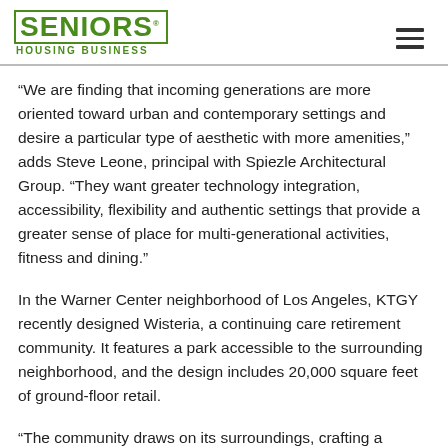SENIORS HOUSING BUSINESS
“We are finding that incoming generations are more oriented toward urban and contemporary settings and desire a particular type of aesthetic with more amenities,” adds Steve Leone, principal with Spiezle Architectural Group. “They want greater technology integration, accessibility, flexibility and authentic settings that provide a greater sense of place for multi-generational activities, fitness and dining.”
In the Warner Center neighborhood of Los Angeles, KTGY recently designed Wisteria, a continuing care retirement community. It features a park accessible to the surrounding neighborhood, and the design includes 20,000 square feet of ground-floor retail.
“The community draws on its surroundings, crafting a walkable neighborhood encouraging interaction among